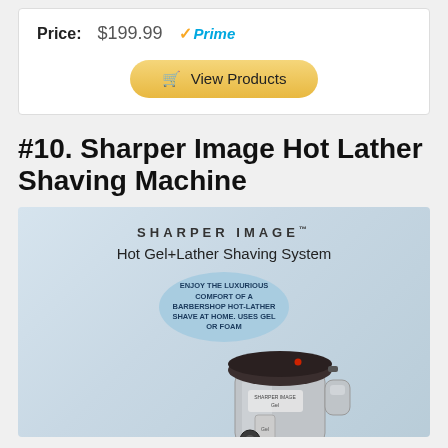Price: $199.99 Prime
View Products
#10. Sharper Image Hot Lather Shaving Machine
[Figure (photo): Product photo of Sharper Image Hot Gel+Lather Shaving System in its box packaging, showing the device with a dark top and silver/chrome body]